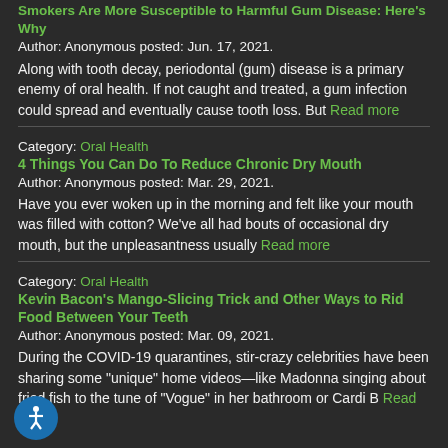Smokers Are More Susceptible to Harmful Gum Disease: Here's Why
Author: Anonymous posted: Jun. 17, 2021.
Along with tooth decay, periodontal (gum) disease is a primary enemy of oral health. If not caught and treated, a gum infection could spread and eventually cause tooth loss. But Read more
Category: Oral Health
4 Things You Can Do To Reduce Chronic Dry Mouth
Author: Anonymous posted: Mar. 29, 2021.
Have you ever woken up in the morning and felt like your mouth was filled with cotton? We've all had bouts of occasional dry mouth, but the unpleasantness usually Read more
Category: Oral Health
Kevin Bacon's Mango-Slicing Trick and Other Ways to Rid Food Between Your Teeth
Author: Anonymous posted: Mar. 09, 2021.
During the COVID-19 quarantines, stir-crazy celebrities have been sharing some "unique" home videos—like Madonna singing about fried fish to the tune of "Vogue" in her bathroom or Cardi B Read more